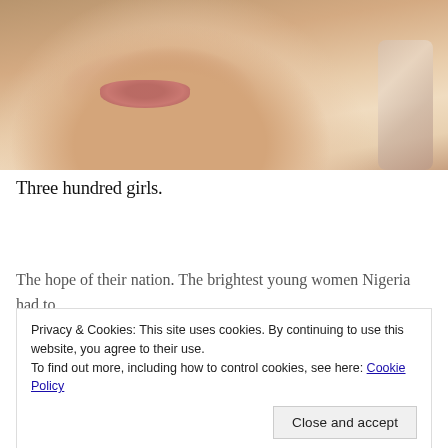[Figure (photo): Close-up photograph of a young woman's face, showing lower half with lips and chin, with fabric visible on right side]
Three hundred girls.
The hope of their nation. The brightest young women Nigeria had to offer. They were going to be teachers, doctors, lawyers, politicians,
Privacy & Cookies: This site uses cookies. By continuing to use this website, you agree to their use.
To find out more, including how to control cookies, see here: Cookie Policy
the middle of the night to the noise of gunfire, forced out of their beds